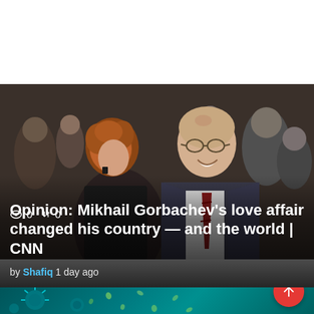[Figure (photo): Photo of Mikhail Gorbachev smiling and looking at a woman with curly auburn hair wearing a black jacket, surrounded by other people in a public setting. Black and white/color vintage photo from Soviet era.]
👁 0  ↕ 0
Opinion: Mikhail Gorbachev's love affair changed his country — and the world | CNN
by Shafiq 1 day ago
[Figure (photo): Bottom strip showing a teal/dark cyan microscopic virus image background, with a red circular scroll-to-top button with white upward arrow on the right side.]